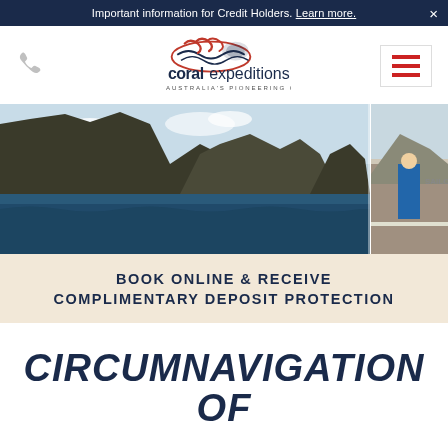Important information for Credit Holders. Learn more. ×
[Figure (logo): Coral Expeditions logo with turtle illustration and text 'coralexpeditions AUSTRALIA'S PIONEERING CRUISE LINE']
[Figure (photo): Panoramic photo of rocky coastal cliffs and ocean with passengers on boat deck on the right side]
BOOK ONLINE & RECEIVE COMPLIMENTARY DEPOSIT PROTECTION
CIRCUMNAVIGATION OF